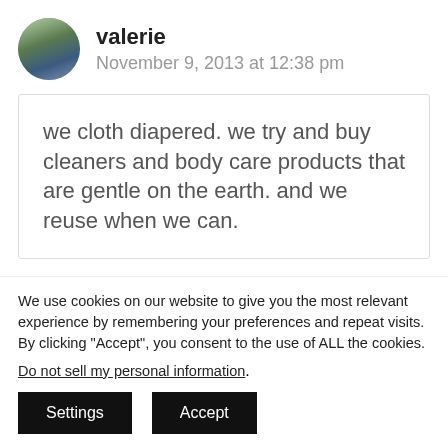[Figure (photo): Circular avatar photo of a couple, man and woman outdoors]
valerie
November 9, 2013 at 12:38 pm
we cloth diapered. we try and buy cleaners and body care products that are gentle on the earth. and we reuse when we can.
We use cookies on our website to give you the most relevant experience by remembering your preferences and repeat visits. By clicking “Accept”, you consent to the use of ALL the cookies.
Do not sell my personal information.
Settings
Accept